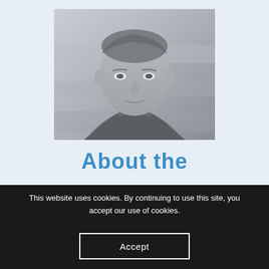[Figure (photo): Grayscale headshot photo of a middle-aged man with short hair, wearing a dark collared shirt, looking slightly upward, against a blurred gray background]
About the
This website uses cookies. By continuing to use this site, you accept our use of cookies.
Accept